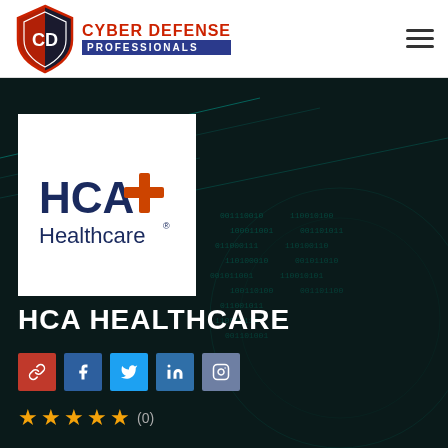[Figure (logo): Cyber Defense Professionals shield logo with text 'CYBER DEFENSE PROFESSIONALS']
[Figure (logo): HCA Healthcare logo with orange cross symbol on white background card]
HCA HEALTHCARE
[Figure (infographic): Social sharing icons row: link (red), Facebook (blue), Twitter (light blue), LinkedIn (blue), Instagram (grey-blue)]
★★★★★ (0)